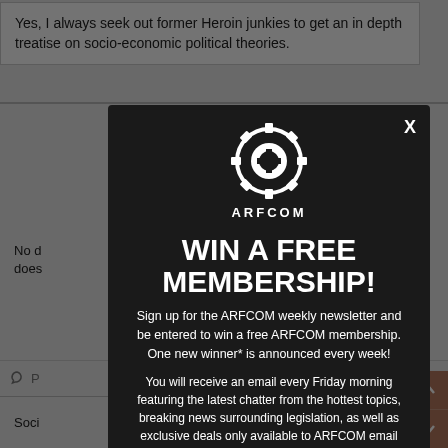Yes, I always seek out former Heroin junkies to get an in depth treatise on socio-economic political theories.
No d... does...
[Figure (screenshot): ARFCOM modal popup dialog with dark background, gear logo, close X button, WIN A FREE MEMBERSHIP headline, newsletter signup text, and email input field at bottom.]
Soci...